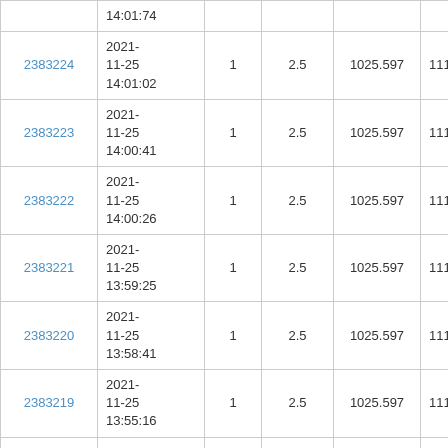| ID | Date/Time | Col3 | Col4 | Col5 | Col6 |
| --- | --- | --- | --- | --- | --- |
| 2383224 | 2021-11-25 14:01:02 | 1 | 2.5 | 1025.597 | 11193138.4 |
| 2383223 | 2021-11-25 14:00:41 | 1 | 2.5 | 1025.597 | 11193135.9 |
| 2383222 | 2021-11-25 14:00:26 | 1 | 2.5 | 1025.597 | 11193133.4 |
| 2383221 | 2021-11-25 13:59:25 | 1 | 2.5 | 1025.597 | 11193130.9 |
| 2383220 | 2021-11-25 13:58:41 | 1 | 2.5 | 1025.597 | 11193128.4 |
| 2383219 | 2021-11-25 13:55:16 | 1 | 2.5 | 1025.597 | 11193125.9 |
| 2383218 | 2021-11-25 13:54:28 | 1 | 2.5 | 1025.597 | 11193123.4 |
|  | 2021- |  |  |  |  |